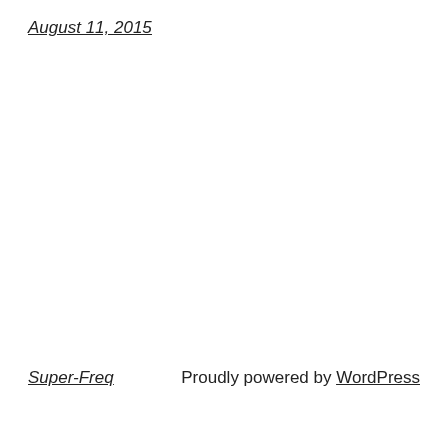August 11, 2015
Super-Freq    Proudly powered by WordPress